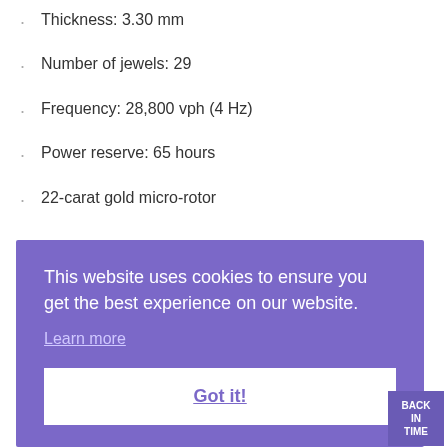Thickness: 3.30 mm
Number of jewels: 29
Frequency: 28,800 vph (4 Hz)
Power reserve: 65 hours
22-carat gold micro-rotor
[Figure (screenshot): Cookie consent banner overlay with purple background reading 'This website uses cookies to ensure you get the best experience on our website.' with a 'Learn more' link and a 'Got it!' button. A 'BACK IN TIME' button appears in bottom right corner.]
Dial and hands: